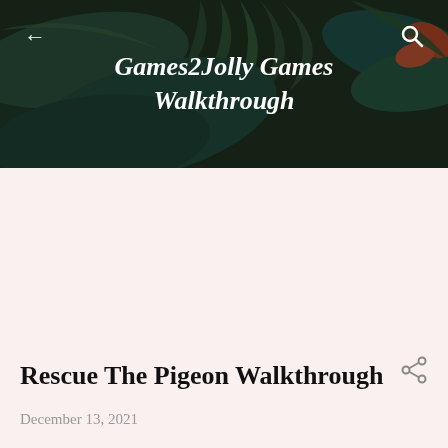Games2Jolly Games Walkthrough
[Figure (illustration): Tropical leaves banner background with dark overlay, back arrow on left, search icon on right]
Rescue The Pigeon Walkthrough
December 13, 2021